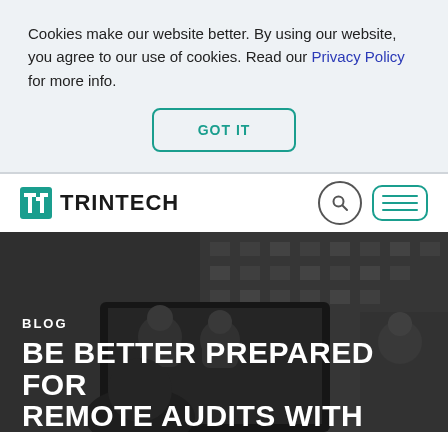Cookies make our website better. By using our website, you agree to our use of cookies. Read our Privacy Policy for more info.
GOT IT
[Figure (logo): Trintech logo with teal square icon and bold text TRINTECH, with search and menu icons on the right]
[Figure (photo): Black and white photo of people in a video conference / remote meeting setting, with a laptop screen showing participants]
BLOG
BE BETTER PREPARED FOR REMOTE AUDITS WITH